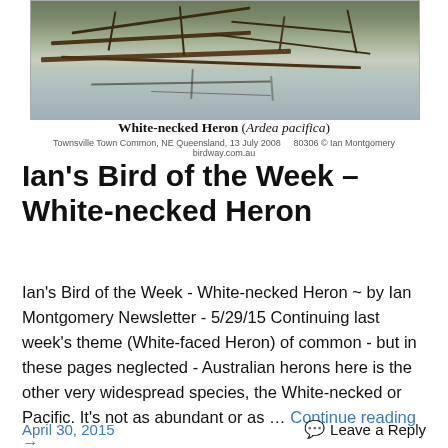[Figure (photo): Photograph of a White-necked Heron at water level among reeds and sticks, taken at Townsville Town Common, NE Queensland]
White-necked Heron (Ardea pacifica)
Townsville Town Common, NE Queensland, 13 July 2008    80306 © Ian Montgomery birdway.com.au
Ian's Bird of the Week – White-necked Heron
Ian's Bird of the Week - White-necked Heron ~ by Ian Montgomery Newsletter - 5/29/15 Continuing last week's theme (White-faced Heron) of common - but in these pages neglected - Australian herons here is the other very widespread species, the White-necked or Pacific. It's not as abundant or as … Continue reading →
April 30, 2015    Leave a Reply